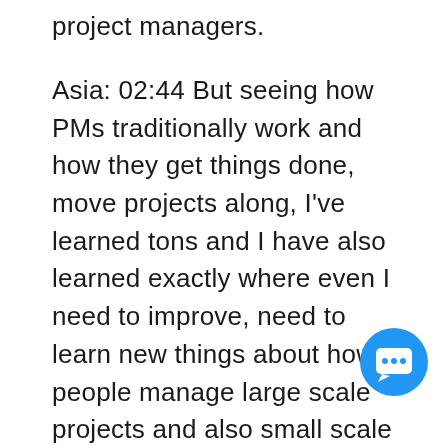project managers.
Asia: 02:44 But seeing how PMs traditionally work and how they get things done, move projects along, I've learned tons and I have also learned exactly where even I need to improve, need to learn new things about how people manage large scale projects and also small scale projects, especially in the startup where you have to accomplish things every single day, gets things done. Sometimes, there's not enough time to oversee a project in a way that a PM would. But so, I think a lot of what we've talked about, even just working together, is w are some of the things that we can take
[Figure (illustration): Blue circular chat/messenger icon button in the bottom right corner]